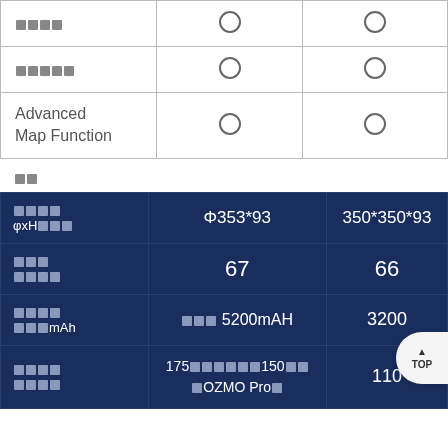| Feature | Col1 | Col2 |
| --- | --- | --- |
| □□□□ | O | O |
| □□□□□ | O | O |
| Advanced Map Function | O | O |
□□
| Spec | Value1 | Value2 |
| --- | --- | --- |
| □□□□ φxH□□□ | Φ353*93 | 350*350*93 |
| □□□ □□□□ | 67 | 66 |
| □□□□ □□□mAh | □□□ 5200mAH | 3200 |
| □□□□ □□□□ | 175□□□□□□150□□ □OZMO Pro□ | 110 |